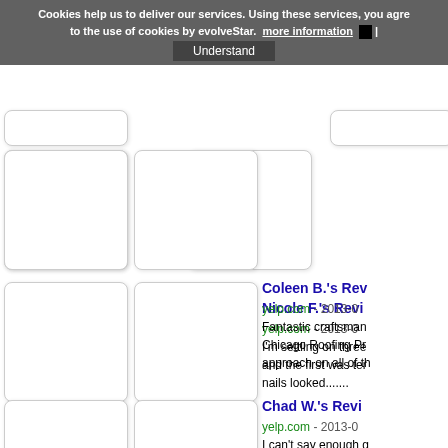Cookies help us to deliver our services. Using these services, you agree to the use of cookies by evolveStar. more information | Understand
[Figure (screenshot): Partially visible top thumbnail row with two white rounded-rectangle boxes]
Nicole F.'s Revi
yelp.com - 2013-0
I'm settling on three and the first was ter nails looked.......
Coleen B.'s Rev
yelp.com - 2013-0
Fantastic craftsman Chicago Roofing Pr approach on all of th
Chad W.'s Revi
yelp.com - 2013-0
I can't say enough g project with work an Chicago. Dusten's...